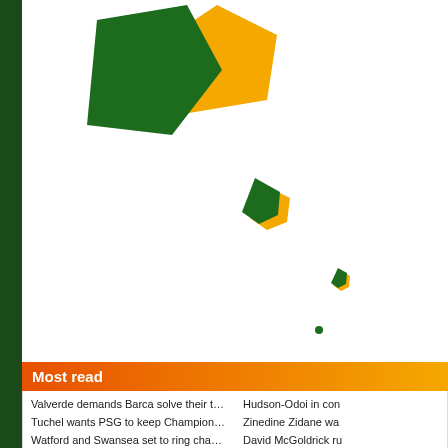[Figure (scatter-plot): Scatter plot of pentagon/hexagon shapes in dark green and yellow/gold at decreasing sizes, arranged diagonally from top-left to lower-center, on white background with dark green left bar.]
Most read
Valverde demands Barca solve their travelling woes
Hudson-Odoi in con...
Tuchel wants PSG to keep Champions League intensity
Zinedine Zidane wa...
Watford and Swansea set to ring changes for Carabao Cup
David McGoldrick ru...
Zidane dismisses reports his future at Real Madrid is
Valverde: Crisis talk...
Harrison suspended for Portsmouth's derby clash against
James Norwood ho...